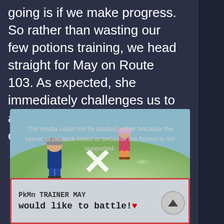Our only hope of keeping this adventure going is if we make progress. So rather than wasting our few potions training, we head straight for May on Route 103. As expected, she immediately challenges us to a battle. Fingers crossed we can make it through this.
[Figure (screenshot): Pokemon game battle screenshot showing two trainers facing each other with a battle arena background. An error message overlay reads 'The media could not be loaded, either because the server or network failed or because the format is not supported.' with a large X symbol. A dialog box at the bottom shows 'PkMn TRAINER MAY would like to battle!' with a red heart symbol.]